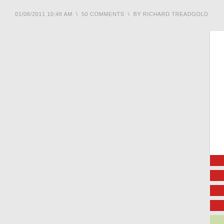01/08/2011 10:48 AM  \  50 COMMENTS  \  BY RICHARD TREADGOLD
[Figure (other): Partial sidebar panel visible on right edge of page with white background and colored blocks (red and light green/yellow)]